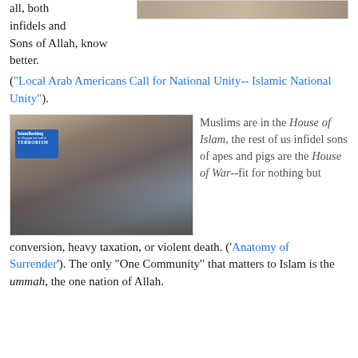all, both infidels and Sons of Allah, know better.
[Figure (photo): Cropped photo of people at top of page]
("Local Arab Americans Call for National Unity-- Islamic National Unity").
[Figure (photo): Protest scene with people holding signs including one reading 'Islam Bashing in Oregon we call it TERRORISM']
Muslims are in the House of Islam, the rest of us infidel sons of apes and pigs are the House of War--fit for nothing but conversion, heavy taxation, or violent death. ('Anatomy of Surrender'). The only "One Community" that matters to Islam is the ummah, the one nation of Allah.